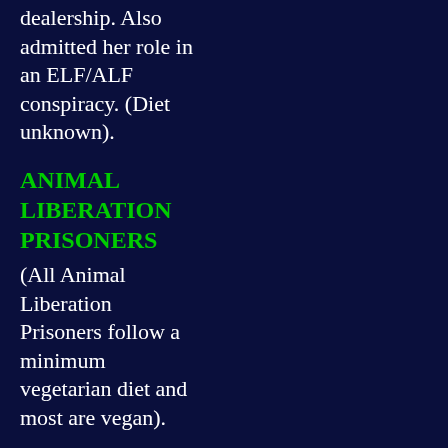dealership. Also admitted her role in an ELF/ALF conspiracy. (Diet unknown).
ANIMAL LIBERATION PRISONERS
(All Animal Liberation Prisoners follow a minimum vegetarian diet and most are vegan).
Jonny Ablewhite TB4885, HMP Ranby, Retford, Notts, DN22 8EU, England. Serving 12 years for